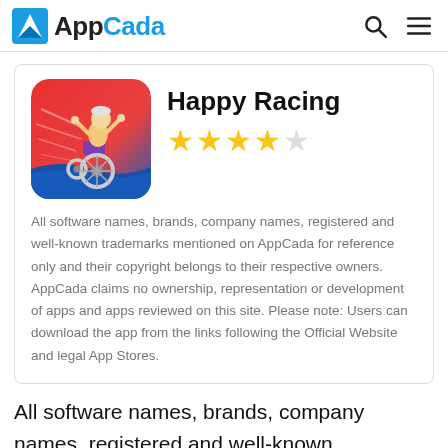AppCada
Happy Racing
All software names, brands, company names, registered and well-known trademarks mentioned on AppCada for reference only and their copyright belongs to their respective owners. AppCada claims no ownership, representation or development of apps and apps reviewed on this site. Please note: Users can download the app from the links following the Official Website and legal App Stores.
All software names, brands, company names, registered and well-known trademarks mentioned on AppCada for reference only and their copyright belongs to their respective owners. AppCada claims no ownership, representation or development